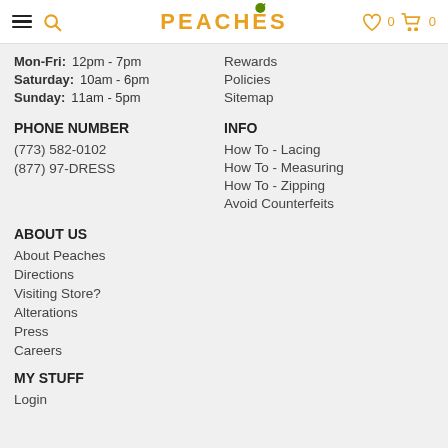PEACHES — navigation header with hamburger menu, search, wishlist (0), cart (0)
Mon-Fri: 12pm - 7pm
Saturday: 10am - 6pm
Sunday: 11am - 5pm
Rewards
Policies
Sitemap
PHONE NUMBER
(773) 582-0102
(877) 97-DRESS
INFO
How To - Lacing
How To - Measuring
How To - Zipping
Avoid Counterfeits
ABOUT US
About Peaches
Directions
Visiting Store?
Alterations
Press
Careers
MY STUFF
Login